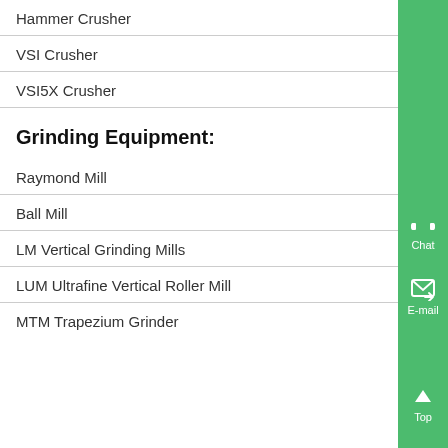Hammer Crusher
VSI Crusher
VSI5X Crusher
Grinding Equipment:
Raymond Mill
Ball Mill
LM Vertical Grinding Mills
LUM Ultrafine Vertical Roller Mill
MTM Trapezium Grinder